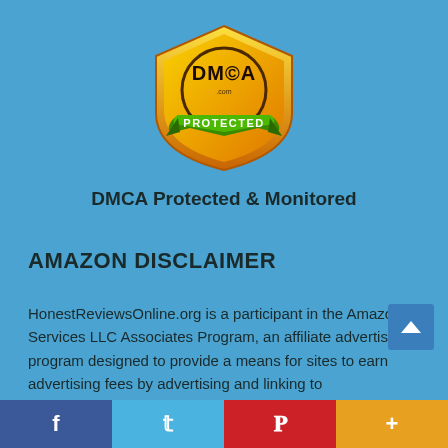[Figure (logo): DMCA.com PROTECTED badge — gold shield shape with 'DMCA.com' text and a green ribbon banner reading 'PROTECTED']
DMCA Protected & Monitored
AMAZON DISCLAIMER
HonestReviewsOnline.org is a participant in the Amazon Services LLC Associates Program, an affiliate advertising program designed to provide a means for sites to earn advertising fees by advertising and linking to
[Figure (other): Social media share bar with Facebook (dark blue), Twitter (light blue), Pinterest (red), and plus/more (orange) buttons]